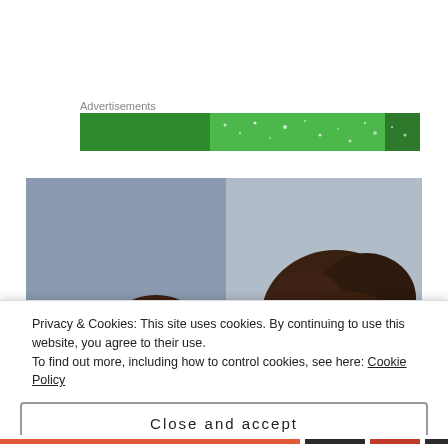Advertisements
[Figure (other): Green advertisement banner with sparkle/star effects on dark and light green background]
[Figure (photo): Close-up photo of two people with dark curly hair against a blueish-gray background, partially obscured by cookie consent overlay]
Privacy & Cookies: This site uses cookies. By continuing to use this website, you agree to their use.
To find out more, including how to control cookies, see here: Cookie Policy
Close and accept